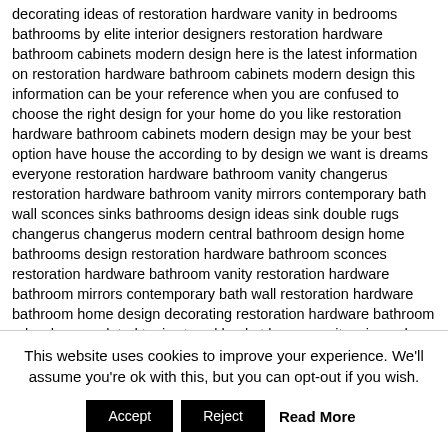decorating ideas of restoration hardware vanity in bedrooms bathrooms by elite interior designers restoration hardware bathroom cabinets modern design here is the latest information on restoration hardware bathroom cabinets modern design this information can be your reference when you are confused to choose the right design for your home do you like restoration hardware bathroom cabinets modern design may be your best option have house the according to by design we want is dreams everyone restoration hardware bathroom vanity changerus restoration hardware bathroom vanity mirrors contemporary bath wall sconces sinks bathrooms design ideas sink double rugs changerus changerus modern central bathroom design home bathrooms design restoration hardware bathroom sconces restoration hardware bathroom vanity restoration hardware bathroom mirrors contemporary bath wall restoration hardware bathroom home design decorating restoration hardware bathroom url — houzz related topics towel basket brown vanity mirrored vanity cabinet boys vanity architectural digest top 100 bathrooms ideas this latest decorating something...
This website uses cookies to improve your experience. We'll assume you're ok with this, but you can opt-out if you wish.